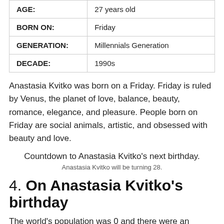| AGE: | 27 years old |
| BORN ON: | Friday |
| GENERATION: | Millennials Generation |
| DECADE: | 1990s |
Anastasia Kvitko was born on a Friday. Friday is ruled by Venus, the planet of love, balance, beauty, romance, elegance, and pleasure. People born on Friday are social animals, artistic, and obsessed with beauty and love.
Countdown to Anastasia Kvitko's next birthday.
Anastasia Kvitko will be turning 28.
4. On Anastasia Kvitko's birthday
The world's population was 0 and there were an estimated year